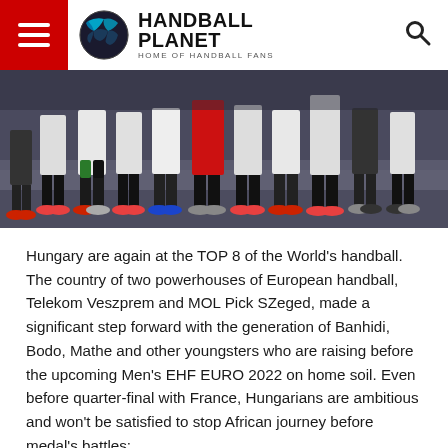HANDBALL PLANET — HOME OF HANDBALL FANS
[Figure (photo): Close-up photo of handball players' legs and feet on a court floor, wearing white and dark shorts, colorful shoes and knee guards.]
Hungary are again at the TOP 8 of the World's handball. The country of two powerhouses of European handball, Telekom Veszprem and MOL Pick SZeged, made a significant step forward with the generation of Banhidi, Bodo, Mathe and other youngsters who are raising before the upcoming Men's EHF EURO 2022 on home soil. Even before quarter-final with France, Hungarians are ambitious and won't be satisfied to stop African journey before medal's battles: